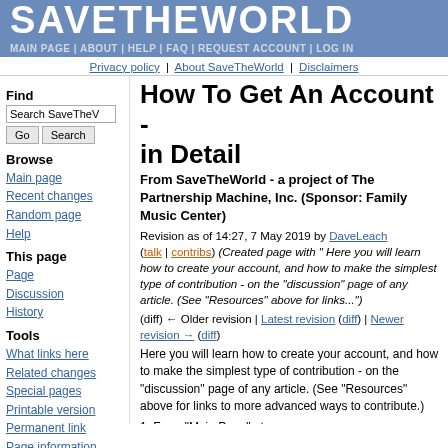SAVETHEWORLD
MAIN PAGE | ABOUT | HELP | FAQ | REQUEST ACCOUNT | LOG IN
Privacy policy | About SaveTheWorld | Disclaimers
Find
Browse
Main page
Recent changes
Random page
Help
This page
Page
Discussion
History
Tools
What links here
Related changes
Special pages
Printable version
Permanent link
Page information
Cite this page
How To Get An Account - in Detail
From SaveTheWorld - a project of The Partnership Machine, Inc. (Sponsor: Family Music Center)
Revision as of 14:27, 7 May 2019 by DaveLeach (talk | contribs) (Created page with " Here you will learn how to create your account, and how to make the simplest type of contribution - on the "discussion" page of any article. (See "Resources" above for links...")
(diff) ← Older revision | Latest revision (diff) | Newer revision → (diff)
Here you will learn how to create your account, and how to make the simplest type of contribution - on the "discussion" page of any article. (See "Resources" above for links to more advanced ways to contribute.)
1. From "Main Page" at http://savetheworld.saltshaker.us/wiki/Main_Page,